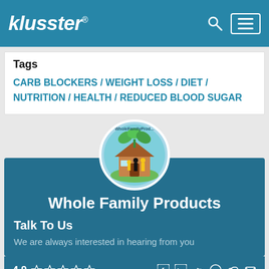klusster®
Tags
CARB BLOCKERS / WEIGHT LOSS / DIET / NUTRITION / HEALTH / REDUCED BLOOD SUGAR
[Figure (logo): Whole Family Products circular logo with green leaves and a house with family figures]
Whole Family Products
Talk To Us
We are always interested in hearing from you
4.9 ☆☆☆☆☆ [social icons: facebook, linkedin, twitter, pinterest, link, email]